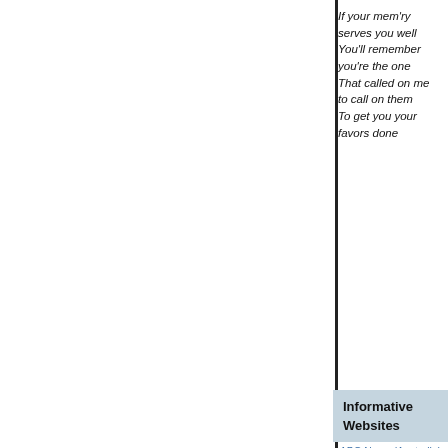If your mem'ry serves you well You'll remember you're the one That called on me to call on them To get you your favors done
Informative Websites
ABC News (Australia)
Abolish Slavery Coalition
AboriginalOz
Aljazeera.net (Not to be confused with Aljazeera Magazine or Aljazeera.com)
Amnesty